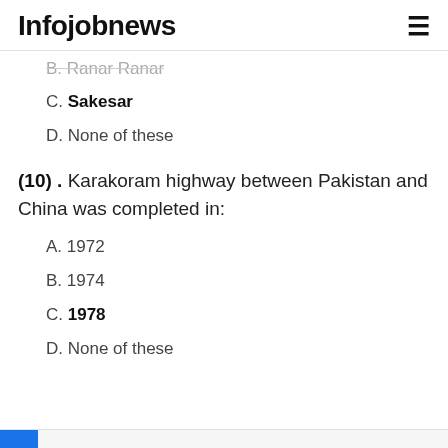Infojobnews
B. Ranar Ranar
C. Sakesar
D. None of these
(10) . Karakoram highway between Pakistan and China was completed in:
A. 1972
B. 1974
C. 1978
D. None of these